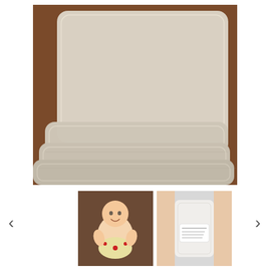[Figure (photo): Multiple cream/off-white cloth diaper inserts or prefold diapers stacked on top of each other on a wooden surface, showing different sizes with stitched edges]
[Figure (photo): Smiling baby lying on back wearing a cloth diaper with red snaps]
[Figure (photo): Close-up of a white cloth diaper or insert product with a label, shown on what appears to be a mannequin or person]